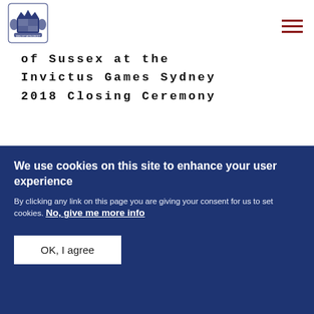[Figure (logo): Royal coat of arms / official UK government logo in navy blue]
of Sussex at the Invictus Games Sydney 2018 Closing Ceremony
[Figure (photo): Partial photo of a person, likely at the Invictus Games Sydney 2018 ceremony]
We use cookies on this site to enhance your user experience
By clicking any link on this page you are giving your consent for us to set cookies. No, give me more info
OK, I agree